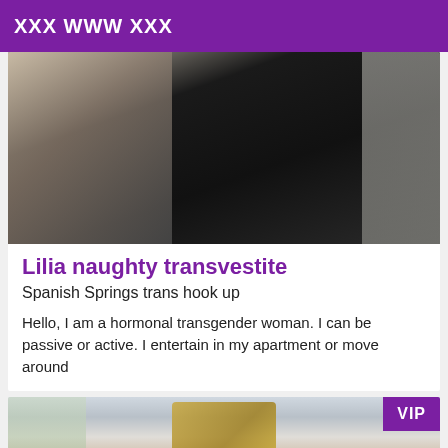XXX WWW XXX
[Figure (photo): Close-up photo showing dark clothing, partially visible person]
Lilia naughty transvestite
Spanish Springs trans hook up
Hello, I am a hormonal transgender woman. I can be passive or active. I entertain in my apartment or move around
[Figure (photo): Photo of a person holding a phone, with VIP badge overlay]